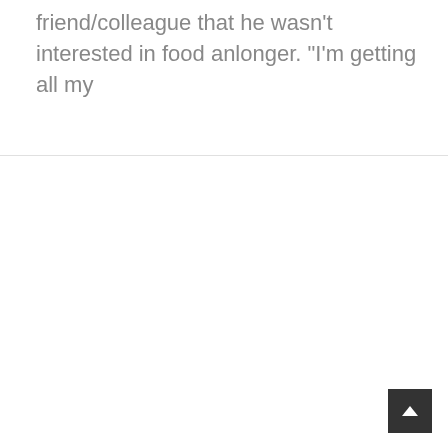friend/colleague that he wasn't interested in food anlonger. "I'm getting all my